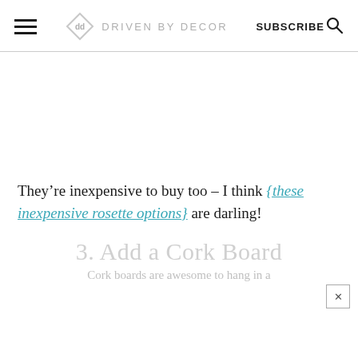DRIVEN BY DECOR | SUBSCRIBE
They’re inexpensive to buy too – I think {these inexpensive rosette options} are darling!
3. Add a Cork Board
Cork boards are awesome to hang in a...